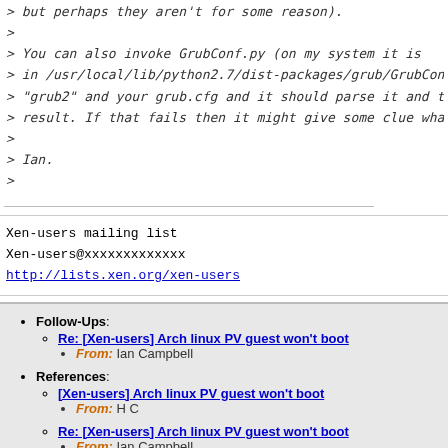> but perhaps they aren't for some reason).
>
> You can also invoke GrubConf.py (on my system it is
> in /usr/local/lib/python2.7/dist-packages/grub/GrubConf.py)
> "grub2" and your grub.cfg and it should parse it and tell yo
> result. If that fails then it might give some clue what is g
>
> Ian.
>
Xen-users mailing list
Xen-users@xxxxxxxxxxxxx
http://lists.xen.org/xen-users
Follow-Ups: Re: [Xen-users] Arch linux PV guest won't boot — From: Ian Campbell
References: [Xen-users] Arch linux PV guest won't boot — From: H C
Re: [Xen-users] Arch linux PV guest won't boot — From: Ian Campbell